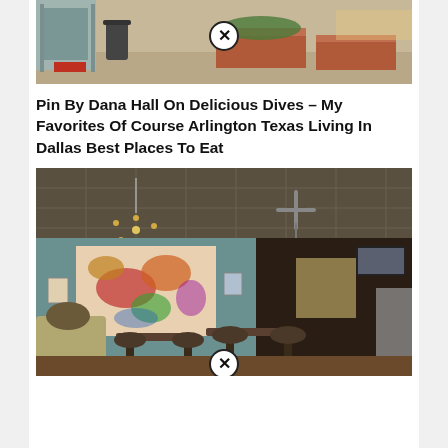[Figure (photo): Exterior photo of a restaurant with brick planters on a sidewalk, trash can visible, outdoor seating in background. A close/remove button (X in circle) overlaid at top center.]
Pin By Dana Hall On Delicious Dives – My Favorites Of Course Arlington Texas Living In Dallas Best Places To Eat
[Figure (photo): Interior of a casual diner/cafe with tin ceiling tiles, vintage sputnik chandelier, colorful abstract painting on teal wall, dark chairs and tables, customers seated, TV in background. A close/remove button (X in circle) overlaid at bottom center.]